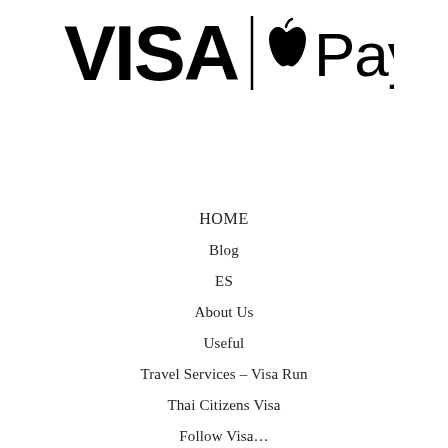[Figure (logo): VISA | Apple Pay logo — VISA in bold black large text, vertical separator bar, then Apple logo icon followed by 'Pay' in large text]
HOME
Blog
ES
About Us
Useful
Travel Services – Visa Run
Thai Citizens Visa
Follow Visa…